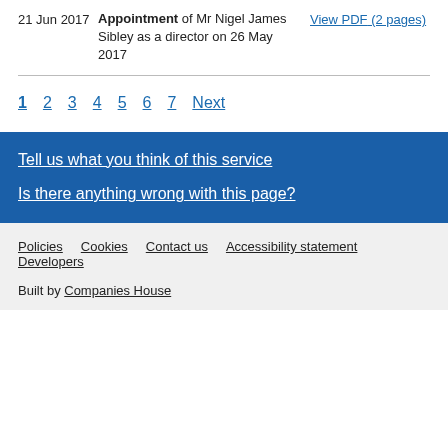21 Jun 2017 | Appointment of Mr Nigel James Sibley as a director on 26 May 2017 | View PDF (2 pages)
1 2 3 4 5 6 7 Next
Tell us what you think of this service
Is there anything wrong with this page?
Policies | Cookies | Contact us | Accessibility statement | Developers
Built by Companies House